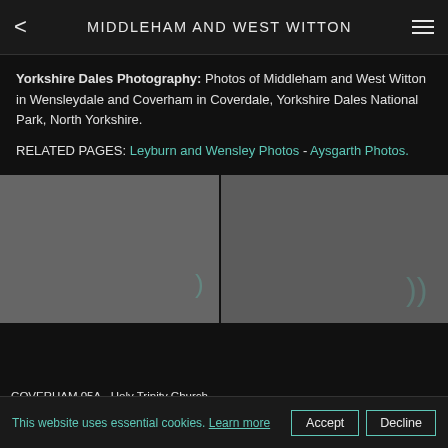MIDDLEHAM AND WEST WITTON
Yorkshire Dales Photography: Photos of Middleham and West Witton in Wensleydale and Coverham in Coverdale, Yorkshire Dales National Park, North Yorkshire.
RELATED PAGES: Leyburn and Wensley Photos - Aysgarth Photos.
[Figure (photo): Grey placeholder image for COVERHAM 05A - Holy Trinity Church]
COVERHAM 05A - Holy Trinity Church
Holy Trinity Church, Coverham in Coverdale,
[Figure (photo): Grey placeholder image (second photo, partially visible)]
This website uses essential cookies. Learn more
Accept
Decline